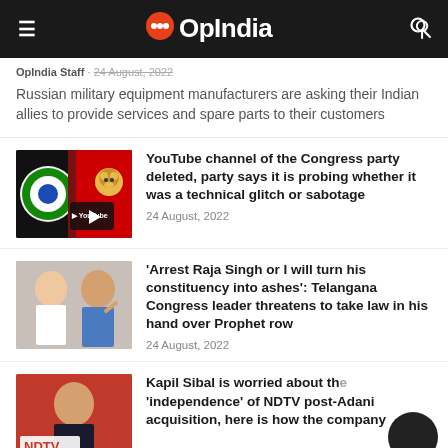OpIndia
OpIndia Staff · 24 August, 2022
Russian military equipment manufacturers are asking their Indian allies to provide services and spare parts to their customers
[Figure (screenshot): YouTube channel thumbnail with Congress party logo and a cartoon monkey mascot]
YouTube channel of the Congress party deleted, party says it is probing whether it was a technical glitch or sabotage
24 August, 2022
[Figure (photo): Two men side by side - one younger in white and one older in blue shirt pointing finger]
'Arrest Raja Singh or I will turn his constituency into ashes': Telangana Congress leader threatens to take law in his hand over Prophet row
24 August, 2022
[Figure (photo): Man in suit with NDTV logo on red background]
Kapil Sibal is worried about the 'independence' of NDTV post-Adani acquisition, here is how the company